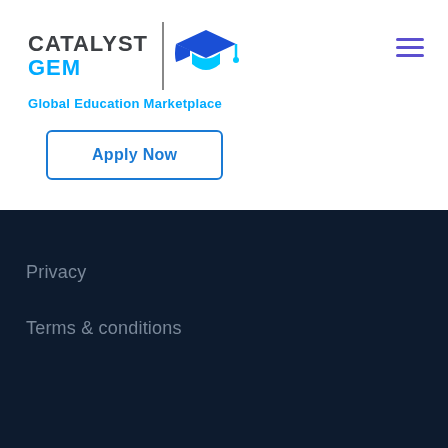[Figure (logo): Catalyst GEM - Global Education Marketplace logo with graduation cap icon]
Global Education Marketplace
Apply Now
Privacy
Terms & conditions